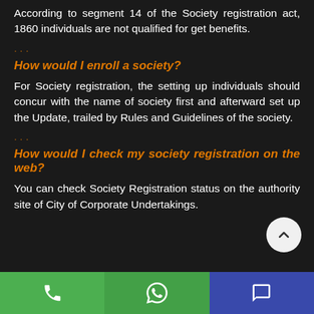According to segment 14 of the Society registration act, 1860 individuals are not qualified for get benefits.
How would I enroll a society?
For Society registration, the setting up individuals should concur with the name of society first and afterward set up the Update, trailed by Rules and Guidelines of the society.
How would I check my society registration on the web?
You can check Society Registration status on the authority site of City of Corporate Undertakings.